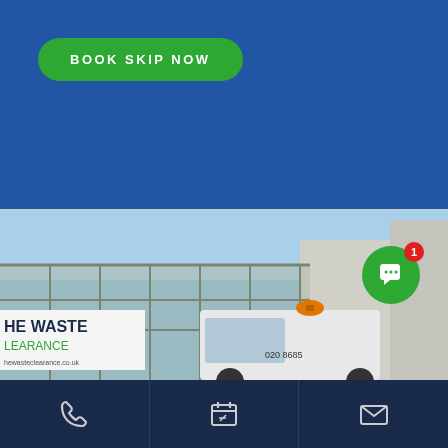[Figure (screenshot): Blue background section with green rounded 'BOOK SKIP NOW' button in upper left]
[Figure (photo): Photo of a waste clearance truck and cage/container with signage reading 'HE WASTE CLEARANCE' and 'hewasteclearance.co.uk' and a phone number starting with 020 865, with orange beacon light on top of cab, against light blue sky]
[Figure (screenshot): Dark navy footer bar with three icon buttons: phone handset, calendar/edit, and envelope/mail icons separated by vertical lines]